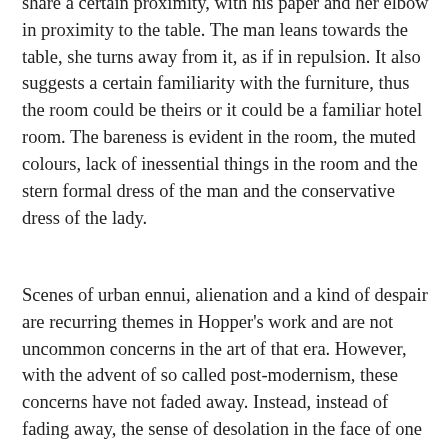share a certain proximity, with his paper and her elbow in proximity to the table. The man leans towards the table, she turns away from it, as if in repulsion. It also suggests a certain familiarity with the furniture, thus the room could be theirs or it could be a familiar hotel room. The bareness is evident in the room, the muted colours, lack of inessential things in the room and the stern formal dress of the man and the conservative dress of the lady.
Scenes of urban ennui, alienation and a kind of despair are recurring themes in Hopper's work and are not uncommon concerns in the art of that era. However, with the advent of so called post-modernism, these concerns have not faded away. Instead, instead of fading away, the sense of desolation in the face of one technological onslaught after another, reducing ethical and other social concerns to just a chimera, have made the urban architecture ferociously anti reflective. Hopper's scenes and paintings convey the sense of being surrounded, the space as it is suggests enclosure, thus the loss of perspective perhaps and in other places as of urban spaces that are too endless but lonely, dull and morose.